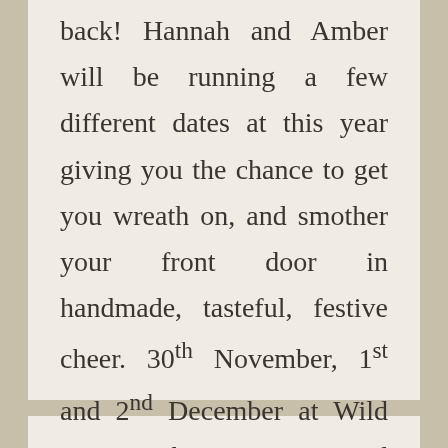back! Hannah and Amber will be running a few different dates at this year giving you the chance to get you wreath on, and smother your front door in handmade, tasteful, festive cheer. 30th November, 1st and 2nd December at Wild Sussex, the prettiest wood yard you ever did see- [...]